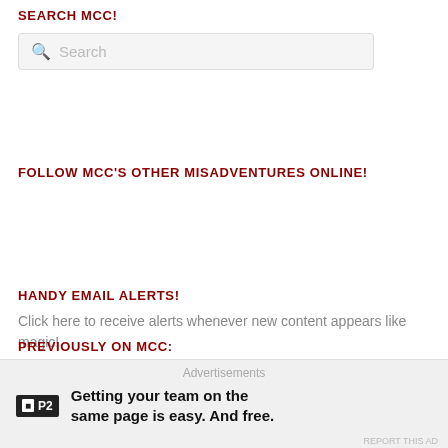SEARCH MCC!
[Figure (screenshot): Search input box with placeholder text 'Search' and a magnifying glass icon]
FOLLOW MCC'S OTHER MISADVENTURES ONLINE!
HANDY EMAIL ALERTS!
Click here to receive alerts whenever new content appears like magic!
[Figure (screenshot): Email Address input field with bottom border only]
[Figure (screenshot): Alert Me! button with rounded border]
PREVIOUSLY ON MCC:
Advertisements
Getting your team on the same page is easy. And free.